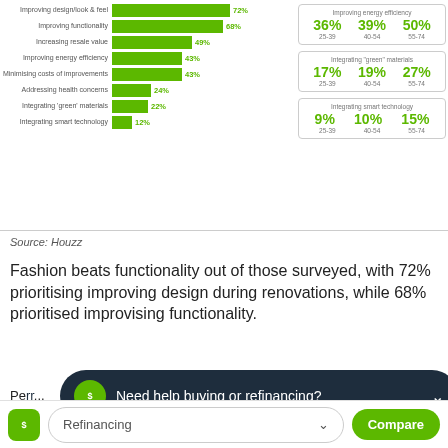[Figure (bar-chart): Renovation priorities]
| Age group | 25-39 | 40-54 | 55-74 |
| --- | --- | --- | --- |
| Improving energy efficiency | 36% | 39% | 50% |
| Integrating 'green' materials | 17% | 19% | 27% |
| Integrating smart technology | 9% | 10% | 15% |
Source: Houzz
Fashion beats functionality out of those surveyed, with 72% prioritising improving design during renovations, while 68% prioritised improvising functionality.
Pe... re...
Need help buying or refinancing?
Refinancing
Compare